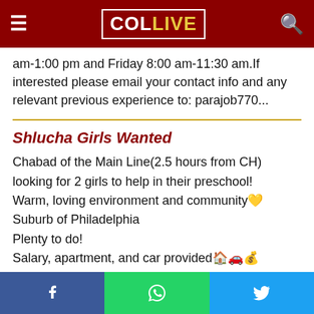COL LIVE
am-1:00 pm and Friday 8:00 am-11:30 am.If interested please email your contact info and any relevant previous experience to: parajob770...
Shlucha Girls Wanted
Chabad of the Main Line(2.5 hours from CH) looking for 2 girls to help in their preschool!
Warm, loving environment and community
Suburb of Philadelphia
Plenty to do!
Salary, apartment, and car provided
End of August-June
For more info cont...
Seeking Help B...